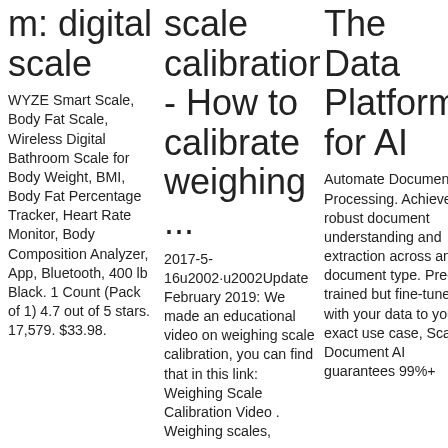m: digital scale
WYZE Smart Scale, Body Fat Scale, Wireless Digital Bathroom Scale for Body Weight, BMI, Body Fat Percentage Tracker, Heart Rate Monitor, Body Composition Analyzer, App, Bluetooth, 400 lb Black. 1 Count (Pack of 1) 4.7 out of 5 stars. 17,579. $33.98.
scale calibration - How to calibrate weighing ...
2017-5-16u2002·u2002Update February 2019: We made an educational video on weighing scale calibration, you can find that in this link: Weighing Scale Calibration Video . Weighing scales,
The Data Platform for AI
Automate Document Processing. Achieve robust document understanding and extraction across any document type. Pre-trained but fine-tuned with your data to your exact use case, Scale Document AI guarantees 99%+